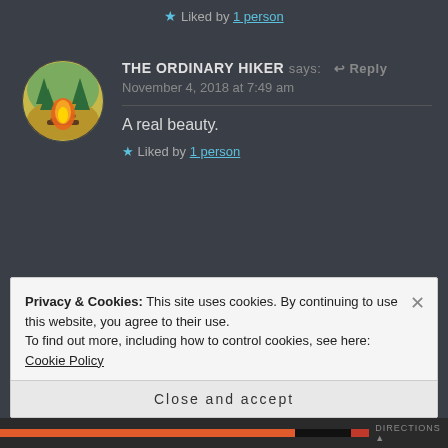★ Liked by 1 person
THE ORDINARY HIKER says: Reply
November 4, 2018 at 7:49 am
A real beauty.
★ Liked by 1 person
[Figure (illustration): Circular avatar with campfire illustration — orange flames with pine trees in background on earthy green/yellow background]
YARDGONEWILD says: Reply
[Figure (photo): Circular avatar photo — partially visible, green/yellow tones, person silhouette icon badge]
Privacy & Cookies: This site uses cookies. By continuing to use this website, you agree to their use.
To find out more, including how to control cookies, see here: Cookie Policy
Close and accept